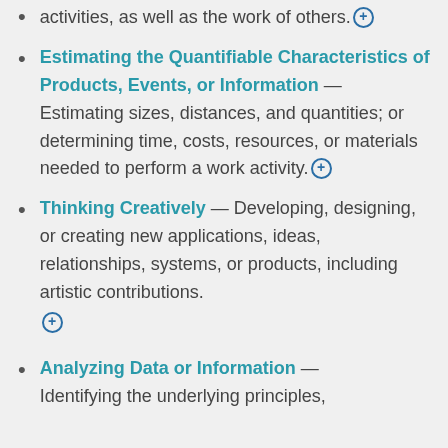activities, as well as the work of others. [+]
Estimating the Quantifiable Characteristics of Products, Events, or Information — Estimating sizes, distances, and quantities; or determining time, costs, resources, or materials needed to perform a work activity. [+]
Thinking Creatively — Developing, designing, or creating new applications, ideas, relationships, systems, or products, including artistic contributions. [+]
Analyzing Data or Information — Identifying the underlying principles,